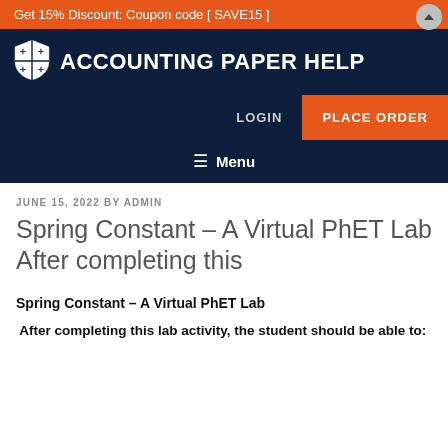Get 15% Discount: Coupon code [ SAVE15 ]
ACCOUNTING PAPER HELP
LOGIN  PLACE ORDER
≡ Menu
JUNE 15, 2022 BY ADMIN
Spring Constant – A Virtual PhET Lab After completing this
Spring Constant – A Virtual PhET Lab
After completing this lab activity, the student should be able to: